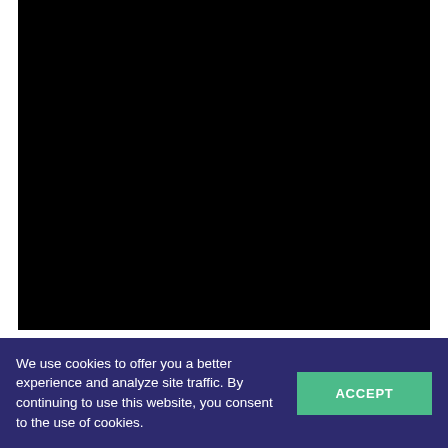[Figure (other): Black video player area, content not visible]
How to Preserve
We use cookies to offer you a better experience and analyze site traffic. By continuing to use this website, you consent to the use of cookies.
ACCEPT